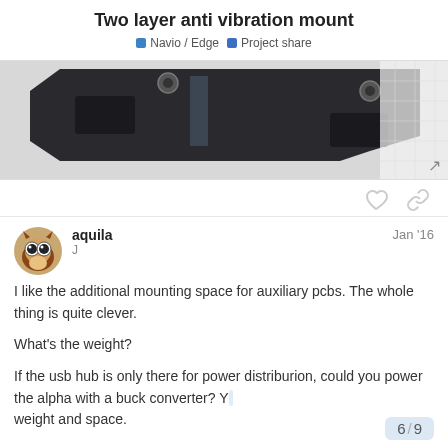Two layer anti vibration mount
Navio / Edge   Project share
[Figure (photo): 3D render of a two-layer anti-vibration mount, dark colored hardware piece shown from an angle]
aquila   Jan '16
J
I like the additional mounting space for auxiliary pcbs. The whole thing is quite clever.
What's the weight?
If the usb hub is only there for power distriburion, could you power the alpha with a buck converter? Y... weight and space.
6 / 9